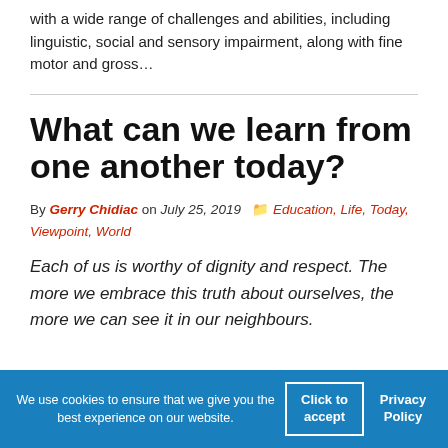with a wide range of challenges and abilities, including linguistic, social and sensory impairment, along with fine motor and gross…
What can we learn from one another today?
By Gerry Chidiac on July 25, 2019  Education, Life, Today, Viewpoint, World
Each of us is worthy of dignity and respect. The more we embrace this truth about ourselves, the more we can see it in our neighbours.
We use cookies to ensure that we give you the best experience on our website. Click to accept Privacy Policy